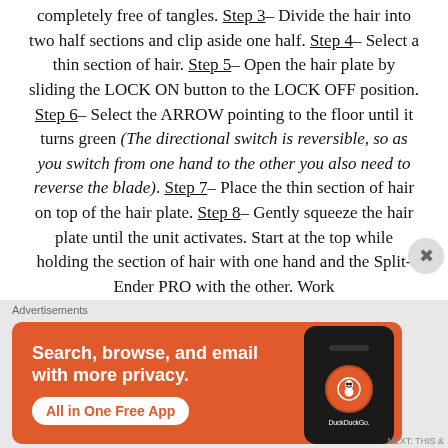completely free of tangles. Step 3– Divide the hair into two half sections and clip aside one half. Step 4– Select a thin section of hair. Step 5– Open the hair plate by sliding the LOCK ON button to the LOCK OFF position. Step 6– Select the ARROW pointing to the floor until it turns green (The directional switch is reversible, so as you switch from one hand to the other you also need to reverse the blade). Step 7– Place the thin section of hair on top of the hair plate. Step 8– Gently squeeze the hair plate until the unit activates. Start at the top while holding the section of hair with one hand and the Split-Ender PRO with the other. Work
Advertisements
[Figure (screenshot): DuckDuckGo advertisement banner with orange background showing 'Search, browse, and email with more privacy. All in One Free App' with a phone mockup showing the DuckDuckGo logo]